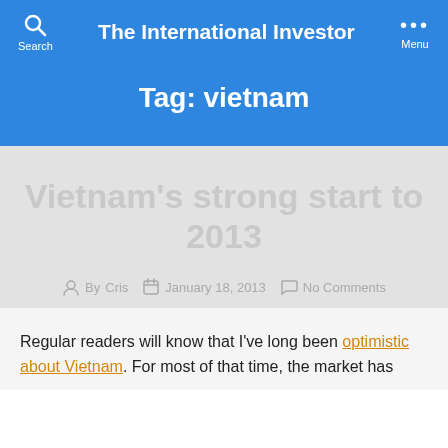The International Investor
Tag: vietnam
Vietnam's strong start to 2013
By Cris  |  January 18, 2013  |  No Comments
Regular readers will know that I've long been optimistic about Vietnam. For most of that time, the market has